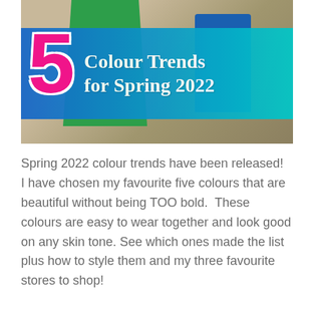[Figure (illustration): Blog post header image showing a person in a green jacket against a light wooden background, with a large pink number 5 on the left and a blue-to-teal gradient banner reading '5 Colour Trends for Spring 2022']
Spring 2022 colour trends have been released!  I have chosen my favourite five colours that are beautiful without being TOO bold.  These colours are easy to wear together and look good on any skin tone.  See which ones made the list plus how to style them and my three favourite stores to shop!